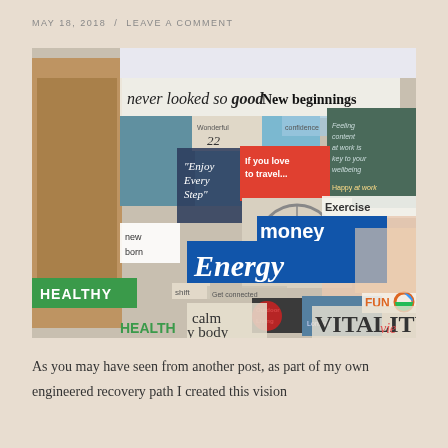MAY 18, 2018  /  LEAVE A COMMENT
[Figure (photo): A vision board collage with magazine cutouts featuring words and phrases like 'never looked so good', 'New beginnings', 'Enjoy Every Step', 'If you love to travel...', 'Exercise', 'money', 'Energy', 'new born', 'calm', 'HEALTHY body', 'VITALITY', 'FUN', 'Outdoor Living', 'HEALTHY', and various lifestyle images including people, a bicycle, cityscapes, and workplaces.]
As you may have seen from another post, as part of my own engineered recovery path I created this vision